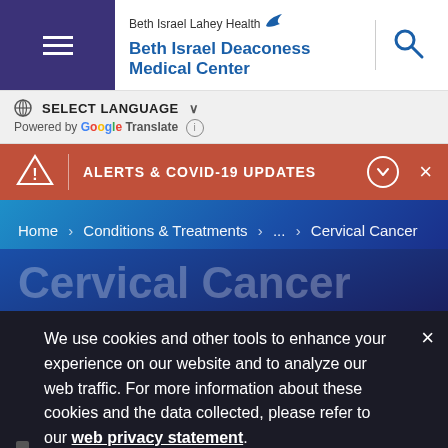Beth Israel Lahey Health — Beth Israel Deaconess Medical Center
SELECT LANGUAGE — Powered by Google Translate
ALERTS & COVID-19 UPDATES
Home > Conditions & Treatments > ... > Cervical Cancer
Cervical Cancer
We use cookies and other tools to enhance your experience on our website and to analyze our web traffic. For more information about these cookies and the data collected, please refer to our web privacy statement.
The cervix is the lowest part of the